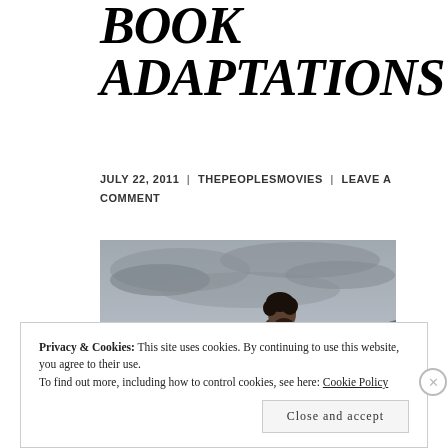BOOK ADAPTATIONS
JULY 22, 2011 | THEPEOPLESMOVIES | LEAVE A COMMENT
[Figure (photo): A bearded man in profile view standing in front of a stormy lake and mountains, wearing a dark jacket, overcast sky above.]
Privacy & Cookies: This site uses cookies. By continuing to use this website, you agree to their use. To find out more, including how to control cookies, see here: Cookie Policy
Close and accept